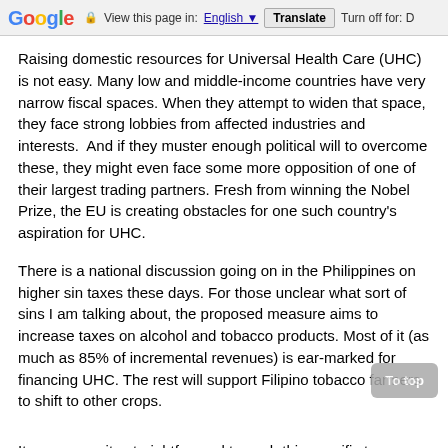Google  View this page in: English [▼]  Translate  Turn off for: D
Raising domestic resources for Universal Health Care (UHC) is not easy. Many low and middle-income countries have very narrow fiscal spaces. When they attempt to widen that space, they face strong lobbies from affected industries and interests.  And if they muster enough political will to overcome these, they might even face some more opposition of one of their largest trading partners. Fresh from winning the Nobel Prize, the EU is creating obstacles for one such country's aspiration for UHC.
There is a national discussion going on in the Philippines on higher sin taxes these days. For those unclear what sort of sins I am talking about, the proposed measure aims to increase taxes on alcohol and tobacco products. Most of it (as much as 85% of incremental revenues) is ear-marked for financing UHC. The rest will support Filipino tobacco farmers to shift to other crops.
It appears quite straightforward to push this specific tax reform in a country which currently has among the lowest prices (mainly due to low taxes) of these sin products in Southeast Asia. The average price of a pack of popular cigarette brands is about USD 0.60 in